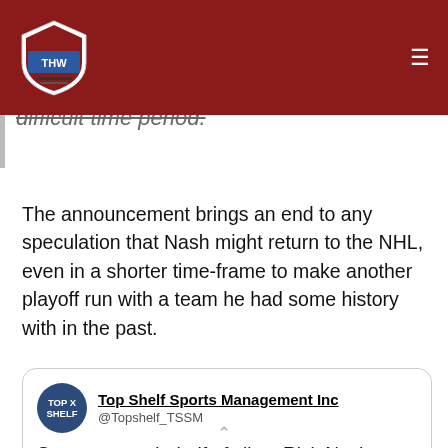THW - The Hockey Writers
difficult time period.
The announcement brings an end to any speculation that Nash might return to the NHL, even in a shorter time-frame to make another playoff run with a team he had some history with in the past.
[Figure (screenshot): Embedded tweet from Top Shelf Sports Management Inc (@Topshelf_TSSM) stating: 'Statement on behalf of client Rick Nash: https://t.co/DekEvhSevy']